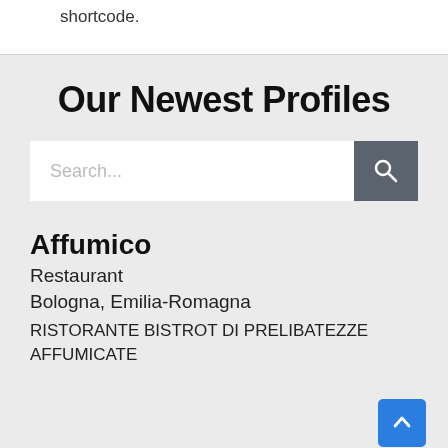shortcode.
Our Newest Profiles
[Figure (screenshot): Search bar with text input and search button]
Affumico
Restaurant
Bologna, Emilia-Romagna
RISTORANTE BISTROT DI PRELIBATEZZE AFFUMICATE